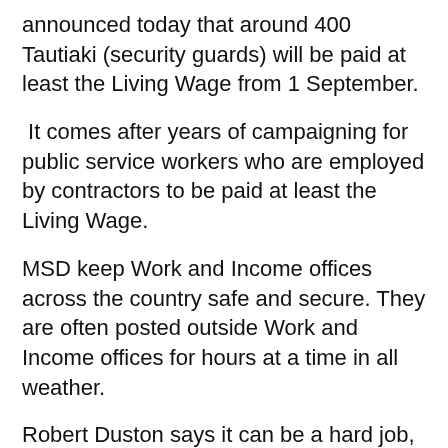announced today that around 400 Tautiaki (security guards) will be paid at least the Living Wage from 1 September.
It comes after years of campaigning for public service workers who are employed by contractors to be paid at least the Living Wage.
MSD keep Work and Income offices across the country safe and secure. They are often posted outside Work and Income offices for hours at a time in all weather.
Robert Duston says it can be a hard job, but one he enjoys.
“I like being able to help less fortunate people have a good day and feel that they’ve had a good experience. “Yes the Living Wage has taken a long time, but I’m really happy the Government has recognised we’re worth it.”
Robert says: “It’s my 50th birthday next year and